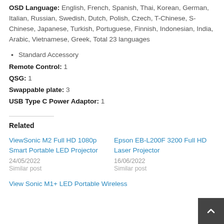OSD Language: English, French, Spanish, Thai, Korean, German, Italian, Russian, Swedish, Dutch, Polish, Czech, T-Chinese, S-Chinese, Japanese, Turkish, Portuguese, Finnish, Indonesian, India, Arabic, Vietnamese, Greek, Total 23 languages
Standard Accessory
Remote Control: 1
QSG: 1
Swappable plate: 3
USB Type C Power Adaptor: 1
Related
ViewSonic M2 Full HD 1080p Smart Portable LED Projector
24/05/2022
Similar post
Epson EB-L200F 3200 Full HD Laser Projector
16/06/2022
Similar post
View Sonic M1+ LED Portable Wireless